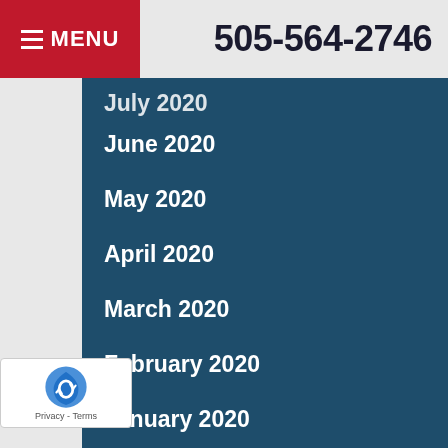MENU | 505-564-2746
July 2020
June 2020
May 2020
April 2020
March 2020
February 2020
January 2020
December 2019
November 2019
October 2019
September 2019
August 2019